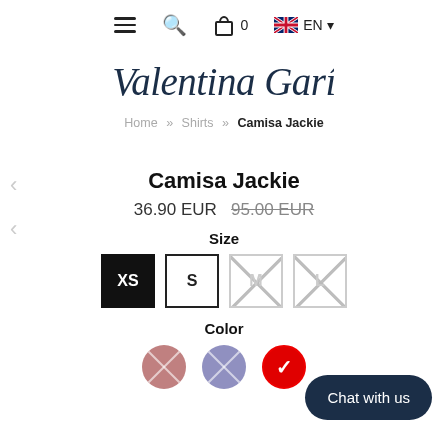≡ 🔍 🛍 0  EN ▾
[Figure (logo): Valentina Garí cursive script logo in dark navy blue]
Home » Shirts » Camisa Jackie
Camisa Jackie
36.90 EUR  95.00 EUR (strikethrough)
Size
XS  S  M  L
Color
Chat with us